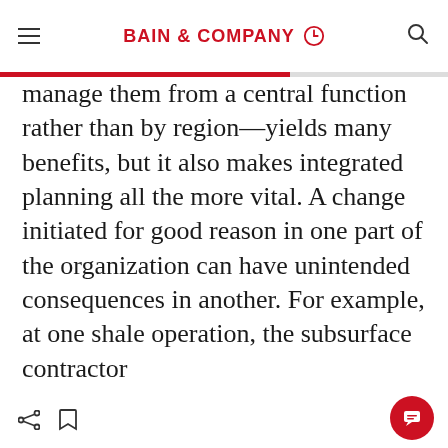BAIN & COMPANY
manage them from a central function rather than by region—yields many benefits, but it also makes integrated planning all the more vital. A change initiated for good reason in one part of the organization can have unintended consequences in another. For example, at one shale operation, the subsurface contractor
Nous utilisons des cookies pour améliorer les fonctionnalités et les performances de ce site.
AUTORISER TOUS LES COOKIES